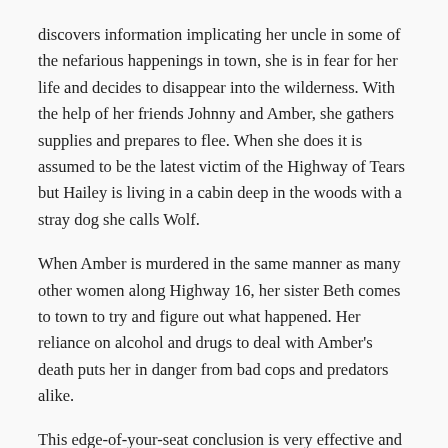discovers information implicating her uncle in some of the nefarious happenings in town, she is in fear for her life and decides to disappear into the wilderness. With the help of her friends Johnny and Amber, she gathers supplies and prepares to flee. When she does it is assumed to be the latest victim of the Highway of Tears but Hailey is living in a cabin deep in the woods with a stray dog she calls Wolf.
When Amber is murdered in the same manner as many other women along Highway 16, her sister Beth comes to town to try and figure out what happened. Her reliance on alcohol and drugs to deal with Amber's death puts her in danger from bad cops and predators alike.
This edge-of-your-seat conclusion is very effective and when the actual killer is revealed I was surprised.
Another great thriller by this author.